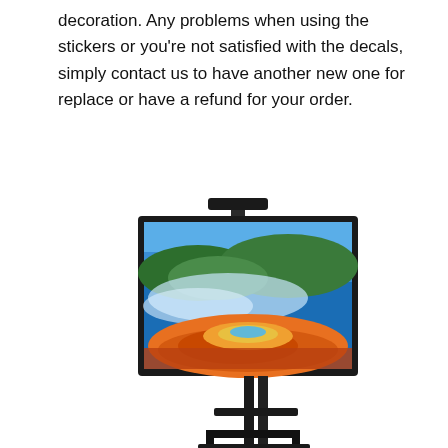decoration. Any problems when using the stickers or you're not satisfied with the decals, simply contact us to have another new one for replace or have a refund for your order.
[Figure (photo): A TV mounted on a tall black floor stand with two horizontal shelf brackets. The TV screen displays a scenic landscape photo of a colorful hot spring (resembling Grand Prismatic Spring) with blue sky, green hills, mist, and orange/red mineral deposits in the foreground.]